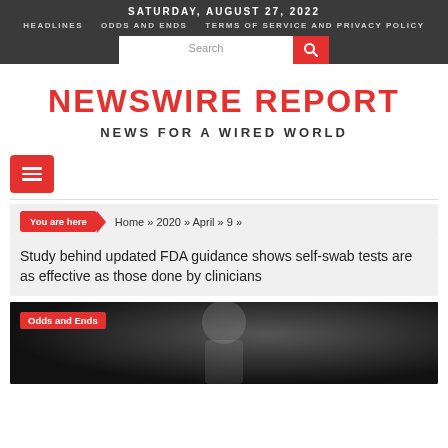SATURDAY, AUGUST 27, 2022
HEADLINES  ODDS AND ENDS  TERMS OF SERVICE AND PRIVACY POLICY
NEWSWIRE REPORT
NEWS FOR A WIRED WORLD
You are here  Home » 2020 » April » 9 »
Study behind updated FDA guidance shows self-swab tests are as effective as those done by clinicians
[Figure (photo): Dark image of a person wearing a white lab coat or medical gown, with 'Odds and Ends' label overlay in red]